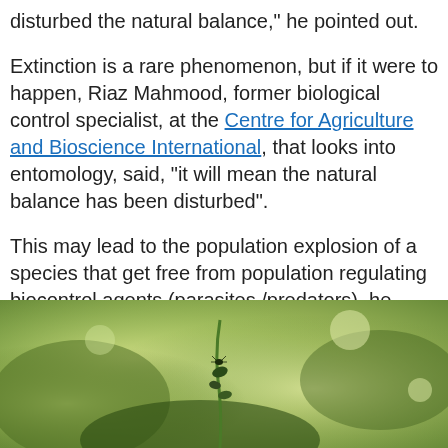disturbed the natural balance," he pointed out.
Extinction is a rare phenomenon, but if it were to happen, Riaz Mahmood, former biological control specialist, at the Centre for Agriculture and Bioscience International, that looks into entomology, said, "it will mean the natural balance has been disturbed".
This may lead to the population explosion of a species that get free from population regulating biocontrol agents (parasites /predators), he warned.
[Figure (photo): Close-up photograph of a green plant or insect on vegetation with blurred green background]